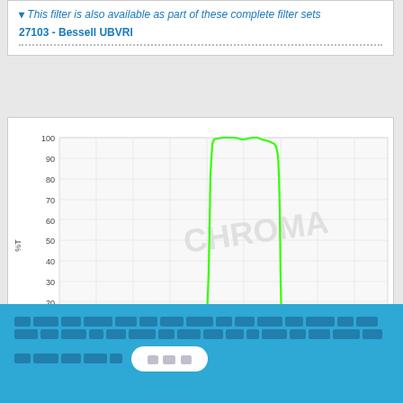▾ This filter is also available as part of these complete filter sets
27103 - Bessell UBVRI
[Figure (continuous-plot): Transmission spectrum chart showing %T (percent transmittance) on y-axis from 0 to 100, and wavelength on x-axis from 300 to 800 nm. A green swatch legend is shown above. The curve shows a bandpass filter with steep rise around 490nm reaching ~100%T plateau between 500-590nm, then steep fall to near 0 around 610nm. Watermark 'CHROMA' visible in background.]
[cookie consent notice with redacted text and Accept button]